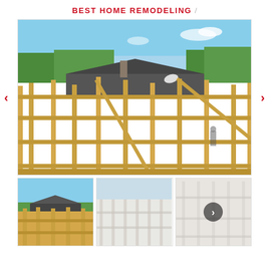BEST HOME REMODELING /
[Figure (photo): Construction site showing wooden framing of a house addition or remodel, with existing house roof visible in background under blue sky with trees. Main large carousel image.]
[Figure (photo): Thumbnail 1: Same construction framing scene from similar angle.]
[Figure (photo): Thumbnail 2: Construction framing interior with lighter/washed out appearance.]
[Figure (photo): Thumbnail 3: Interior framing with a circular more/next button overlay showing there are additional images.]